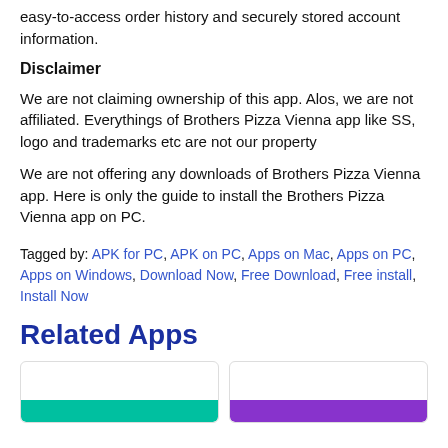easy-to-access order history and securely stored account information.
Disclaimer
We are not claiming ownership of this app. Alos, we are not affiliated. Everythings of Brothers Pizza Vienna app like SS, logo and trademarks etc are not our property
We are not offering any downloads of Brothers Pizza Vienna app. Here is only the guide to install the Brothers Pizza Vienna app on PC.
Tagged by: APK for PC, APK on PC, Apps on Mac, Apps on PC, Apps on Windows, Download Now, Free Download, Free install, Install Now
Related Apps
[Figure (other): Two app card placeholders side by side, left card with teal button, right card with purple button]